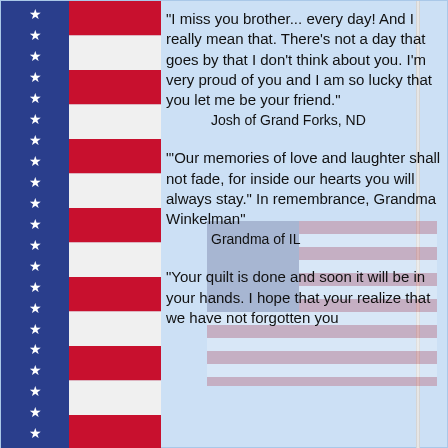[Figure (illustration): American flag decorative border on the left side with blue canton containing white stars and red/white horizontal stripes]
"I miss you brother... every day! And I really mean that. There's not a day that goes by that I don't think about you. I'm very proud of you and I am so lucky that you let me be your friend."
Josh of Grand Forks, ND
'"Our memories of love and laughter shall not fade, for inside our hearts you will always stay." In remembrance, Grandma Winkelman"
Grandma of IL
"Your quilt is done and soon it will be in your hands. I hope that your realize that we have not forgotten you